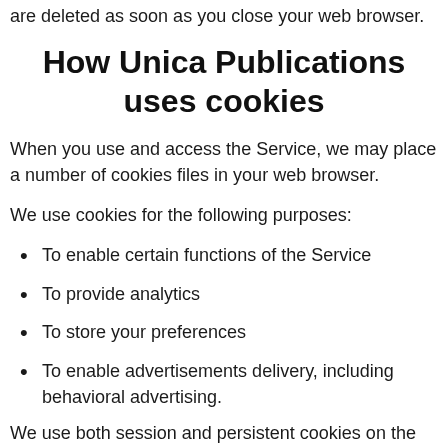are deleted as soon as you close your web browser.
How Unica Publications uses cookies
When you use and access the Service, we may place a number of cookies files in your web browser.
We use cookies for the following purposes:
To enable certain functions of the Service
To provide analytics
To store your preferences
To enable advertisements delivery, including behavioral advertising.
We use both session and persistent cookies on the Service and we use different types of cookies to run the